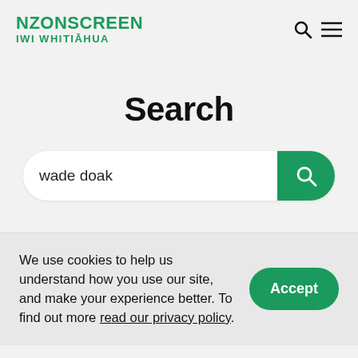NZONSCREEN IWI WHITIAHUA
Search
wade doak
We use cookies to help us understand how you use our site, and make your experience better. To find out more read our privacy policy.